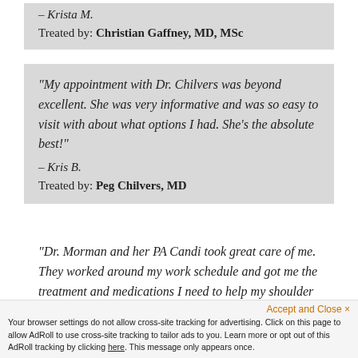– Krista M.
Treated by: Christian Gaffney, MD, MSc
“My appointment with Dr. Chilvers was beyond excellent. She was very informative and was so easy to visit with about what options I had. She’s the absolute best!”
– Kris B.
Treated by: Peg Chilvers, MD
“Dr. Morman and her PA Candi took great care of me. They worked around my work schedule and got me the treatment and medications I need to help my shoulder until I can get the surgery set up. I will alp…
Accept and Close ×
Your browser settings do not allow cross-site tracking for advertising. Click on this page to allow AdRoll to use cross-site tracking to tailor ads to you. Learn more or opt out of this AdRoll tracking by clicking here. This message only appears once.